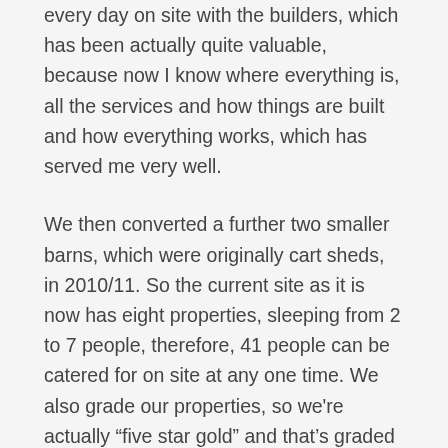baby build, a huge learning curve, but I spent all day every day on site with the builders, which has been actually quite valuable, because now I know where everything is, all the services and how things are built and how everything works, which has served me very well.
We then converted a further two smaller barns, which were originally cart sheds, in 2010/11. So the current site as it is now has eight properties, sleeping from 2 to 7 people, therefore, 41 people can be catered for on site at any one time. We also grade our properties, so we're actually “five star gold” and that’s graded annually by Quality In Britain. We’ve actually added a few other facilities. We’ve now got a games barn, hot tub, fitness barn and a soft play barn. There’s obviously lots of